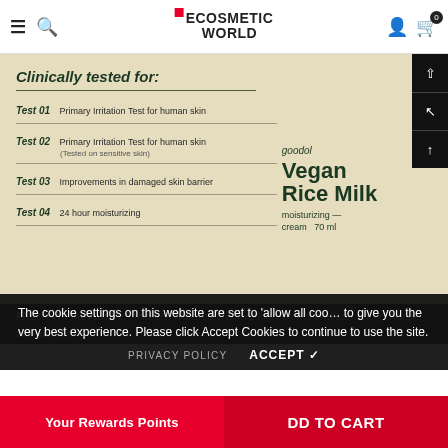ECOSMETIC WORLD
[Figure (photo): Product image of Goodal Vegan Rice Milk moisturizing cream 70ml on a cream/beige background, alongside a clinically tested claims list]
Clinically tested for:
Test 01  Primary Irritation Test for human skin
Test 02  Primary Irritation Test for human skin (Tested on sensitive skin)
Test 03  Improvements in damaged skin barrier
Test 04  24 hour moisturizing
The cookie settings on this website are set to 'allow all cookies' to give you the very best experience. Please click Accept Cookies to continue to use the site.
PRIVACY POLICY   ACCEPT ✔
Your Rewards Points
DD TO CART